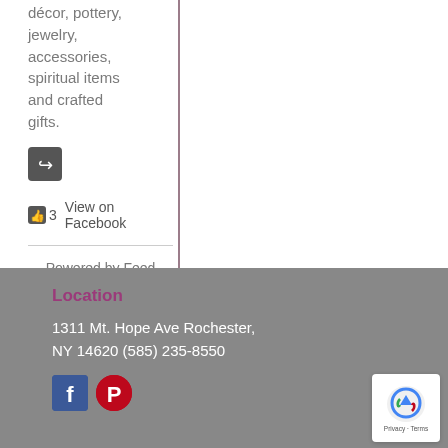décor, pottery, jewelry, accessories, spiritual items and crafted gifts.
👍 3   View on Facebook
Powered by Feed Them Social
Location
1311 Mt. Hope Ave Rochester, NY 14620 (585) 235-8550
[Figure (logo): Facebook and Pinterest social media icons]
[Figure (logo): reCAPTCHA badge with Privacy and Terms links]